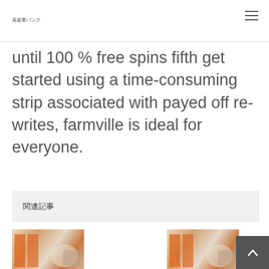美容室バンク
until 100 % free spins fifth get started using a time-consuming strip associated with payed off re-writes, farmville is ideal for everyone.
関連記事
[Figure (photo): Interior of a hair salon with orange accents and white chairs]
美容室バンク　美容 室の
[Figure (photo): Interior of a hair salon with orange accents and white chairs]
美容室バンク　美容 室